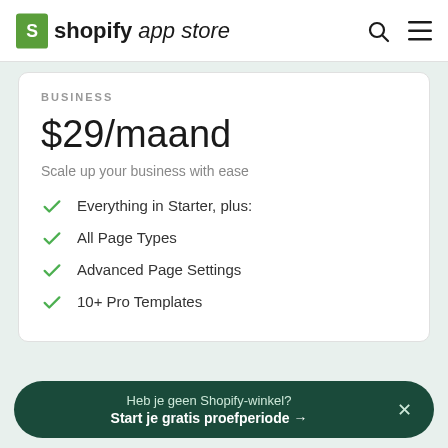shopify app store
BUSINESS
$29/maand
Scale up your business with ease
Everything in Starter, plus:
All Page Types
Advanced Page Settings
10+ Pro Templates
Heb je geen Shopify-winkel? Start je gratis proefperiode →